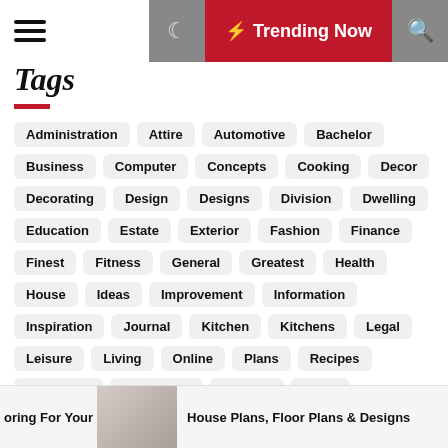Trending Now
Tags
Administration
Attire
Automotive
Bachelor
Business
Computer
Concepts
Cooking
Decor
Decorating
Design
Designs
Division
Dwelling
Education
Estate
Exterior
Fashion
Finance
Finest
Fitness
General
Greatest
Health
House
Ideas
Improvement
Information
Inspiration
Journal
Kitchen
Kitchens
Legal
Leisure
Living
Online
Plans
Recipes
Residence
Residential
Science
Small
Technology
Travel
oring For Your | House Plans, Floor Plans & Designs